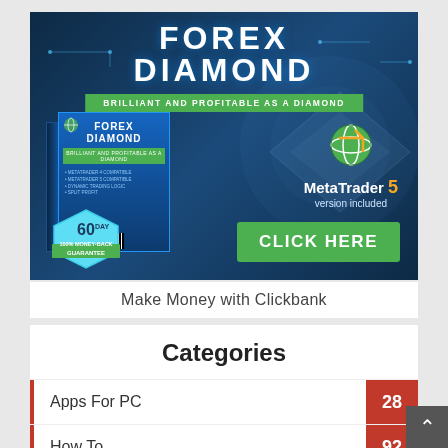[Figure (advertisement): Forex Diamond trading software advertisement banner on dark blue background. Shows product box with 'FOREX DIAMOND' text, 'BRILLIANT AND PROFITABLE AS A DIAMOND' tagline in green bar, MetaTrader 5 version included logo, 60 Day 100% Money-Back Guarantee badge, and green CLICK HERE button.]
Make Money with Clickbank
Categories
Apps For PC  28
How To  92
Soft...  (partial)